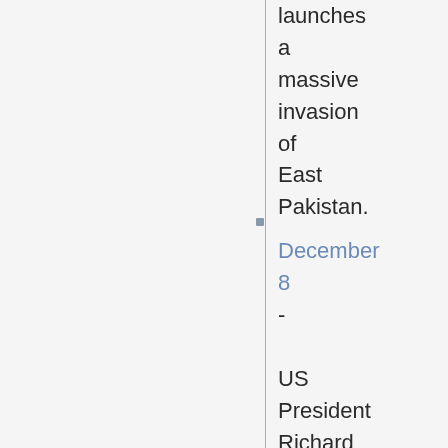launches a massive invasion of East Pakistan.
December 8 - US President Richard Nixon orders the